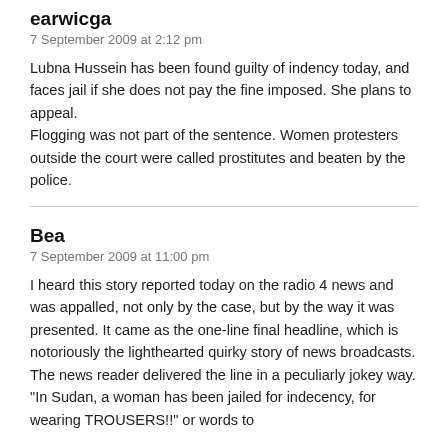earwicga
7 September 2009 at 2:12 pm
Lubna Hussein has been found guilty of indency today, and faces jail if she does not pay the fine imposed. She plans to appeal.
Flogging was not part of the sentence. Women protesters outside the court were called prostitutes and beaten by the police.
Bea
7 September 2009 at 11:00 pm
I heard this story reported today on the radio 4 news and was appalled, not only by the case, but by the way it was presented. It came as the one-line final headline, which is notoriously the lighthearted quirky story of news broadcasts. The news reader delivered the line in a peculiarly jokey way. "In Sudan, a woman has been jailed for indecency, for wearing TROUSERS!!" or words to that effect. The casual, essentially...